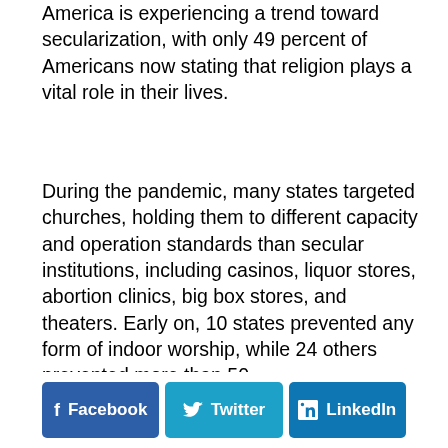America is experiencing a trend toward secularization, with only 49 percent of Americans now stating that religion plays a vital role in their lives.
During the pandemic, many states targeted churches, holding them to different capacity and operation standards than secular institutions, including casinos, liquor stores, abortion clinics, big box stores, and theaters. Early on, 10 states prevented any form of indoor worship, while 24 others prevented more than 50
Facebook   Twitter   LinkedIn